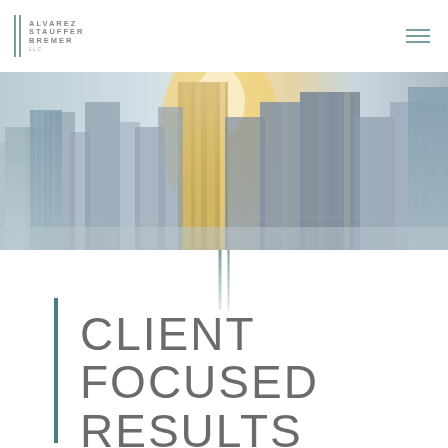[Figure (logo): Alvarez Stauffer Bremer logo with two vertical teal bars and stacked text]
[Figure (photo): City skyline at sunrise/sunset with tall glass buildings, warm golden light in the center, wide-angle perspective]
[Figure (illustration): Two small decorative vertical teal bars below the hero image]
CLIENT FOCUSED RESULTS DRIVEN